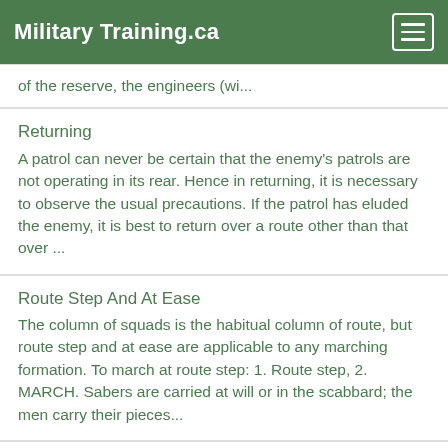Military Training.ca
of the reserve, the engineers (wi...
Returning
A patrol can never be certain that the enemy's patrols are not operating in its rear. Hence in returning, it is necessary to observe the usual precautions. If the patrol has eluded the enemy, it is best to return over a route other than that over ...
Route Step And At Ease
The column of squads is the habitual column of route, but route step and at ease are applicable to any marching formation. To march at route step: 1. Route step, 2. MARCH. Sabers are carried at will or in the scabbard; the men carry their pieces...
Rules For Deployments
The command guide right (left or center) indicates the